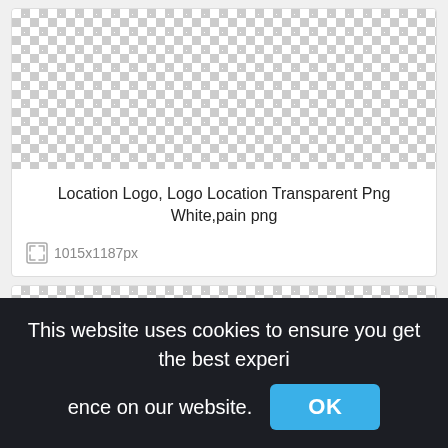[Figure (other): Checkered transparent background pattern for first image card]
Location Logo, Logo Location Transparent Png White,pain png
1015x1187px
[Figure (other): Checkered transparent background pattern for second image card]
This website uses cookies to ensure you get the best experience on our website.